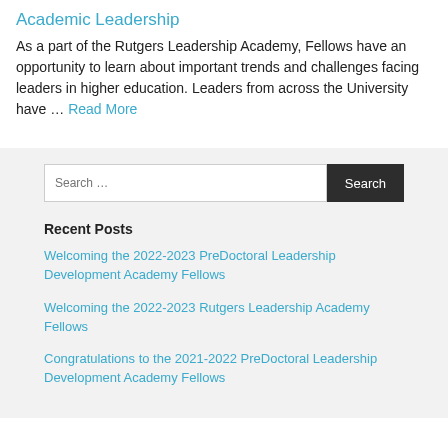Academic Leadership
As a part of the Rutgers Leadership Academy, Fellows have an opportunity to learn about important trends and challenges facing leaders in higher education. Leaders from across the University have … Read More
Welcoming the 2022-2023 PreDoctoral Leadership Development Academy Fellows
Welcoming the 2022-2023 Rutgers Leadership Academy Fellows
Congratulations to the 2021-2022 PreDoctoral Leadership Development Academy Fellows